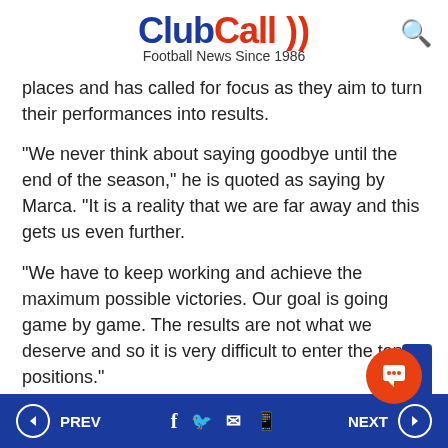ClubCall)) Football News Since 1986
places and has called for focus as they aim to turn their performances into results.
“We never think about saying goodbye until the end of the season,” he is quoted as saying by Marca. “It is a reality that we are far away and this gets us even further.
“We have to keep working and achieve the maximum possible victories. Our goal is going game by game. The results are not what we deserve and so it is very difficult to enter the top positions.”
PREV | f | Twitter | Mail | WhatsApp | NEXT